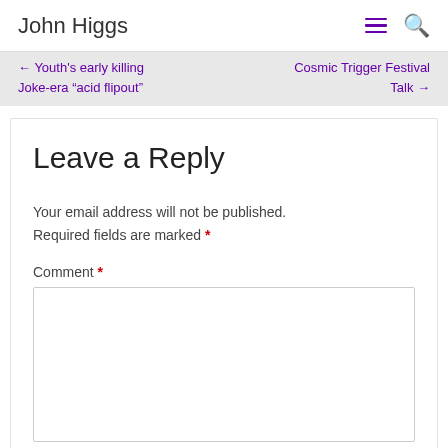John Higgs
← Youth's early killing Joke-era “acid flipout”  Cosmic Trigger Festival Talk →
Leave a Reply
Your email address will not be published. Required fields are marked *
Comment *